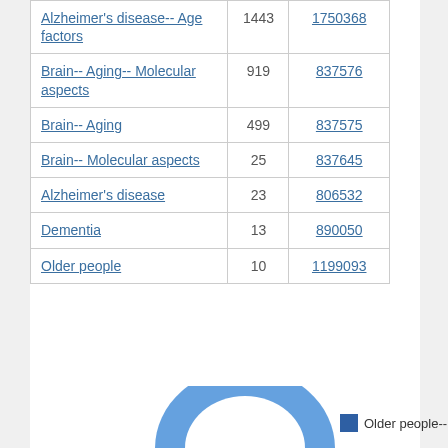| Subject |  |  |
| --- | --- | --- |
| Alzheimer's disease-- Age factors | 1443 | 1750368 |
| Brain-- Aging-- Molecular aspects | 919 | 837576 |
| Brain-- Aging | 499 | 837575 |
| Brain-- Molecular aspects | 25 | 837645 |
| Alzheimer's disease | 23 | 806532 |
| Dementia | 13 | 890050 |
| Older people | 10 | 1199093 |
[Figure (pie-chart): Partial pie chart visible at bottom of page with blue slice, with legend showing 'Older people--Menta...']